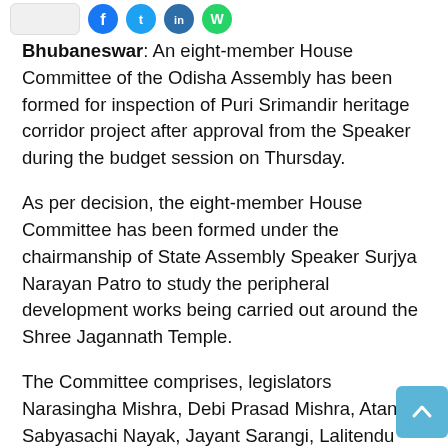[Figure (other): Social share buttons: a white/grey pill button, and circular icons in dark blue (Facebook), light blue (Twitter), dark blue, and green (WhatsApp)]
Bhubaneswar: An eight-member House Committee of the Odisha Assembly has been formed for inspection of Puri Srimandir heritage corridor project after approval from the Speaker during the budget session on Thursday.
As per decision, the eight-member House Committee has been formed under the chairmanship of State Assembly Speaker Surjya Narayan Patro to study the peripheral development works being carried out around the Shree Jagannath Temple.
The Committee comprises, legislators Narasingha Mishra, Debi Prasad Mishra, Atanu Sabyasachi Nayak, Jayant Sarangi, Lalitendu Bidyadhar Mohapatra along with ministers, Bikram Keshari Arukh and Pratap Jena will formulate an outline for the project work after visiting the 12th-century shrine.
The decision came after the opposition BJP and Congress